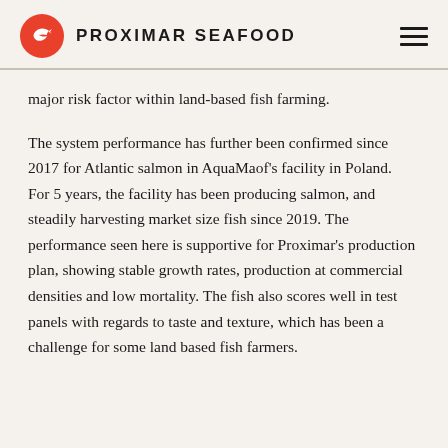PROXIMAR SEAFOOD
major risk factor within land-based fish farming.
The system performance has further been confirmed since 2017 for Atlantic salmon in AquaMaof's facility in Poland. For 5 years, the facility has been producing salmon, and steadily harvesting market size fish since 2019. The performance seen here is supportive for Proximar's production plan, showing stable growth rates, production at commercial densities and low mortality. The fish also scores well in test panels with regards to taste and texture, which has been a challenge for some land based fish farmers.